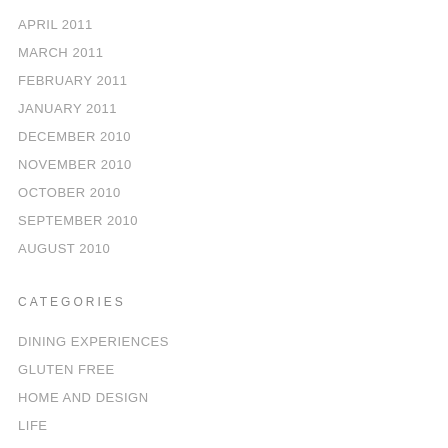APRIL 2011
MARCH 2011
FEBRUARY 2011
JANUARY 2011
DECEMBER 2010
NOVEMBER 2010
OCTOBER 2010
SEPTEMBER 2010
AUGUST 2010
CATEGORIES
DINING EXPERIENCES
GLUTEN FREE
HOME AND DESIGN
LIFE